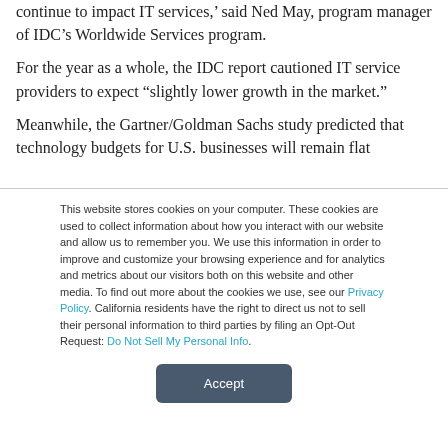continue to impact IT services,' said Ned May, program manager of IDC's Worldwide Services program.
For the year as a whole, the IDC report cautioned IT service providers to expect “slightly lower growth in the market.”
Meanwhile, the Gartner/Goldman Sachs study predicted that technology budgets for U.S. businesses will remain flat
This website stores cookies on your computer. These cookies are used to collect information about how you interact with our website and allow us to remember you. We use this information in order to improve and customize your browsing experience and for analytics and metrics about our visitors both on this website and other media. To find out more about the cookies we use, see our Privacy Policy. California residents have the right to direct us not to sell their personal information to third parties by filing an Opt-Out Request: Do Not Sell My Personal Info.
Accept